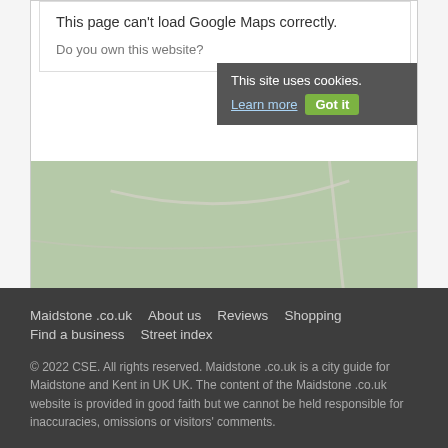[Figure (screenshot): Google Maps error dialog showing 'This page can't load Google Maps correctly.' with 'Do you own this website?' text. Cookie consent banner visible with 'Learn more' link and 'Got it' button. Below is a green map background with road lines and 'UK60 Weather Radar' label.]
Note: the pin is positioned at the postcode centre, and may not correspond with the precise location of Friningham, Detling.
Maidstone .co.uk  About us  Reviews  Shopping  Find a business  Street index

© 2022 CSE. All rights reserved. Maidstone .co.uk is a city guide for Maidstone and Kent in UK UK. The content of the Maidstone .co.uk website is provided in good faith but we cannot be held responsible for inaccuracies, omissions or visitors' comments.